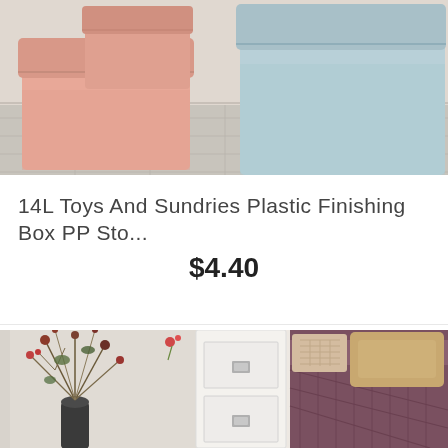[Figure (photo): Pink and blue plastic storage boxes with lids on a tiled floor]
14L Toys And Sundries Plastic Finishing Box PP Sto...
$4.40
[Figure (photo): Bedroom scene with white nightstand, flower vase, and bed with purple bedding]